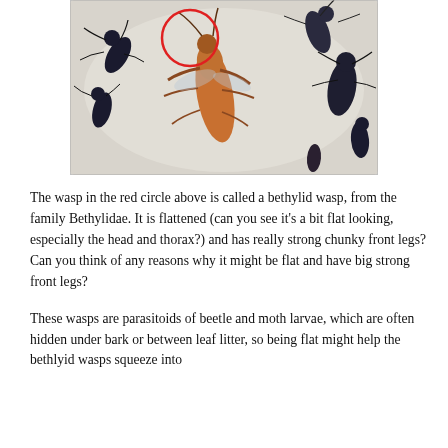[Figure (photo): Close-up photograph of several insects on a white surface viewed through what appears to be a petri dish or microscope slide. A red circle is drawn in the upper-left area highlighting a bethylid wasp (flattened, orange-brown coloured). Other dark-coloured insects are visible around it.]
The wasp in the red circle above is called a bethylid wasp, from the family Bethylidae. It is flattened (can you see it's a bit flat looking, especially the head and thorax?) and has really strong chunky front legs? Can you think of any reasons why it might be flat and have big strong front legs?
These wasps are parasitoids of beetle and moth larvae, which are often hidden under bark or between leaf litter, so being flat might help the bethlyid wasps squeeze into